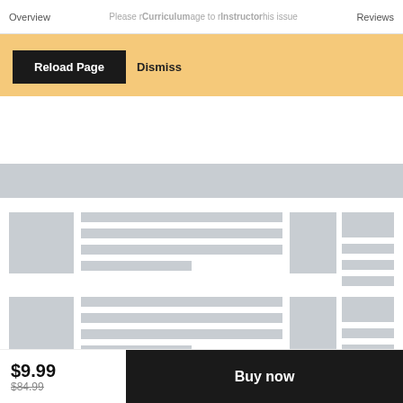Overview  Curriculum  Instructor  Reviews
Please reload the page to resolve this issue
Reload Page   Dismiss
[Figure (screenshot): Loading skeleton placeholder cards with grey rectangles representing course thumbnails and text lines]
$9.99  $84.99  Buy now